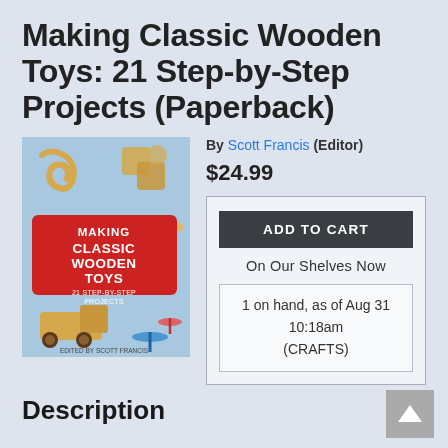Making Classic Wooden Toys: 21 Step-by-Step Projects (Paperback)
[Figure (photo): Book cover of 'Making Classic Wooden Toys: 21 Step-by-Step Projects' showing wooden toy figures including a truck and puzzle pieces on a light blue background with a red title panel]
By Scott Francis (Editor)
$24.99
ADD TO CART
On Our Shelves Now
1 on hand, as of Aug 31 10:18am (CRAFTS)
Description